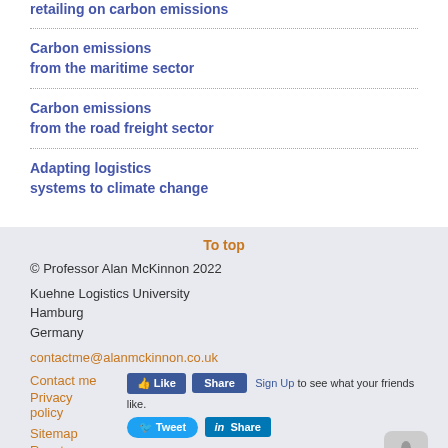retailing on carbon emissions
Carbon emissions from the maritime sector
Carbon emissions from the road freight sector
Adapting logistics systems to climate change
To top
© Professor Alan McKinnon 2022
Kuehne Logistics University
Hamburg
Germany
contactme@alanmckinnon.co.uk
Contact me
Privacy policy
Sitemap
Reset cookies